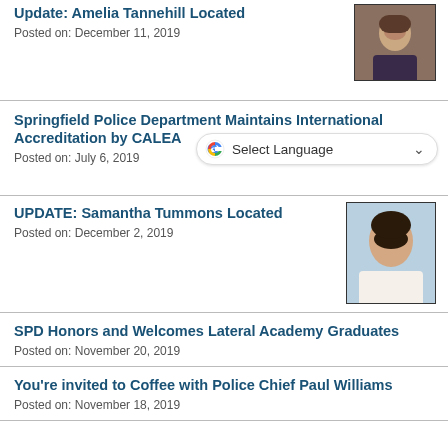Update: Amelia Tannehill Located
Posted on: December 11, 2019
[Figure (photo): Headshot photo of Amelia Tannehill]
Springfield Police Department Maintains International Accreditation by CALEA
Posted on: July 6, 2019
[Figure (other): Google Translate Select Language widget]
UPDATE: Samantha Tummons Located
Posted on: December 2, 2019
[Figure (photo): Headshot photo of Samantha Tummons]
SPD Honors and Welcomes Lateral Academy Graduates
Posted on: November 20, 2019
You're invited to Coffee with Police Chief Paul Williams
Posted on: November 18, 2019